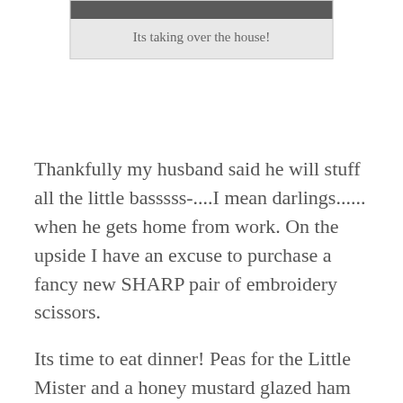[Figure (photo): A photo box with a dark image strip at top and a gray background caption area below]
Its taking over the house!
Thankfully my husband said he will stuff all the little basssss-....I mean darlings...... when he gets home from work. On the upside I have an excuse to purchase a fancy new SHARP pair of embroidery scissors.
Its time to eat dinner! Peas for the Little Mister and a honey mustard glazed ham steak for mommy! Yum!! the secret recipe?? Dijon mustard and syrup. put in a measuring cup until it looks like it will cover the ham. mix, cover the ham. season with thyme and rosemary. bake for